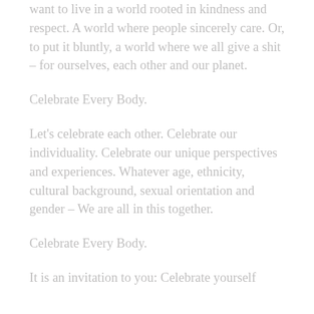want to live in a world rooted in kindness and respect. A world where people sincerely care. Or, to put it bluntly, a world where we all give a shit – for ourselves, each other and our planet.
Celebrate Every Body.
Let's celebrate each other. Celebrate our individuality. Celebrate our unique perspectives and experiences. Whatever age, ethnicity, cultural background, sexual orientation and gender – We are all in this together.
Celebrate Every Body.
It is an invitation to you: Celebrate yourself